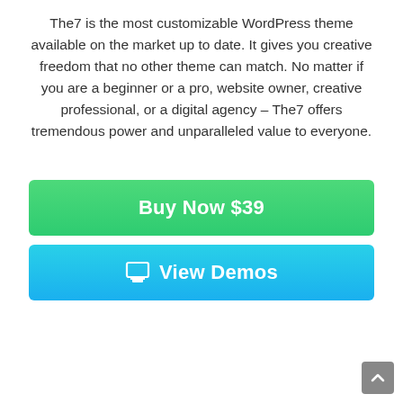The7 is the most customizable WordPress theme available on the market up to date. It gives you creative freedom that no other theme can match. No matter if you are a beginner or a pro, website owner, creative professional, or a digital agency – The7 offers tremendous power and unparalleled value to everyone.
[Figure (other): Green gradient button labeled 'Buy Now $39']
[Figure (other): Blue gradient button with monitor/screen icon labeled 'View Demos']